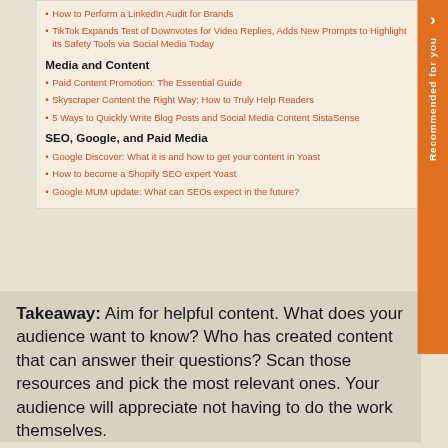How to Perform a LinkedIn Audit for Brands
TikTok Expands Test of Downvotes for Video Replies, Adds New Prompts to Highlight its Safety Tools via Social Media Today
Media and Content
Paid Content Promotion: The Essential Guide
Skyscraper Content the Right Way: How to Truly Help Readers
5 Ways to Quickly Write Blog Posts and Social Media Content SistaSense
SEO, Google, and Paid Media
Google Discover: What it is and how to get your content in Yoast
How to become a Shopify SEO expert Yoast
Google MUM update: What can SEOs expect in the future?
Takeaway: Aim for helpful content. What does your audience want to know? Who has created content that can answer their questions? Scan those resources and pick the most relevant ones. Your audience will appreciate not having to do the work themselves.
When curating #Content, think
39 SHARES